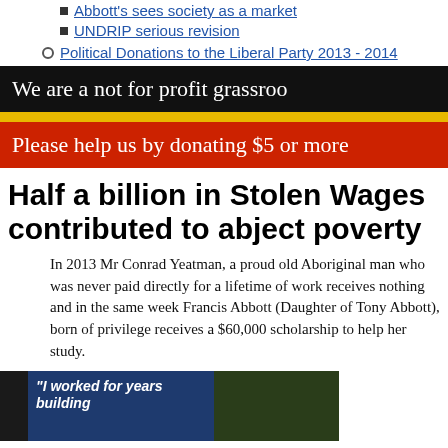Abbott's sees society as a market
UNDRIP serious revision
Political Donations to the Liberal Party 2013 - 2014
We are a not for profit grassroo
Please help us by donating $5 or more
Half a billion in Stolen Wages contributed to abject poverty
In 2013 Mr Conrad Yeatman, a proud old Aboriginal man who was never paid directly for a lifetime of work receives nothing and in the same week Francis Abbott (Daughter of Tony Abbott), born of privilege receives a $60,000 scholarship to help her study.
[Figure (photo): Photo strip showing a dark silhouette of buildings on left, a sign reading 'I worked for years building' in centre, and dark trees on right]